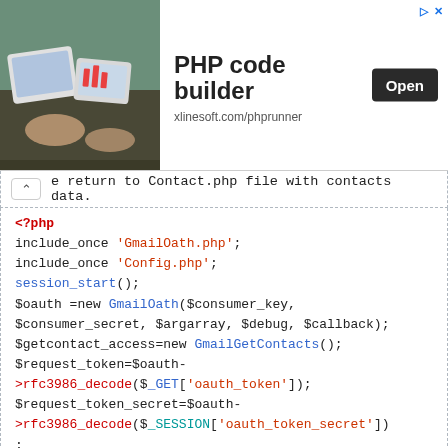[Figure (photo): Advertisement banner for PHP code builder tool by xlinesoft. Shows photo of tablets/devices on desk, bold text 'PHP code builder', URL 'xlinesoft.com/phprunner', and an 'Open' button.]
e return to Contact.php file with contacts data.
[Figure (screenshot): PHP code block showing: <?php, include_once 'GmailOath.php';, include_once 'Config.php';, session_start();, $oauth =new GmailOath($consumer_key, $consumer_secret, $argarray, $debug, $callback);, $getcontact_access=new GmailGetContacts();, $request_token=$oauth->rfc3986_decode($_GET['oauth_token']);, $request_token_secret=$oauth->rfc3986_decode($_SESSION['oauth_token_secret']);, $oauth_verifier= $oauth-]